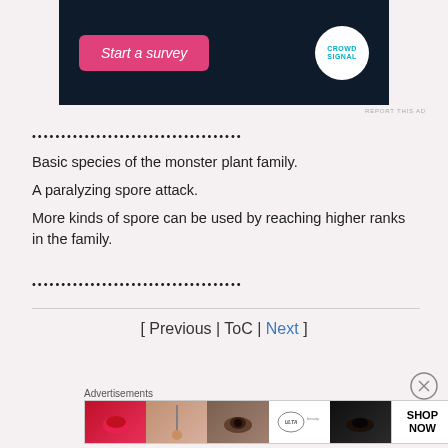[Figure (screenshot): Dark navy advertisement banner with a pink 'Start a survey' button and Crowdsignal circular logo on white background]
REPORT THIS AD
••••••••••••••••••••••••••••••••••••
Basic species of the monster plant family.
A paralyzing spore attack.
More kinds of spore can be used by reaching higher ranks in the family.
••••••••••••••••••••••••••••••••••••
[ Previous | ToC | Next ]
Advertisements
[Figure (screenshot): Ulta Beauty advertisement banner showing beauty product images including lips, makeup brush, eye, Ulta logo, smoky eye, and SHOP NOW button]